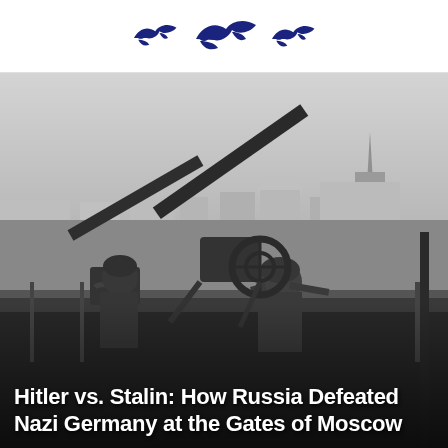[Logo with bird silhouettes]
[Figure (photo): Black and white World War II era photograph showing Soviet soldiers operating anti-aircraft guns on a rooftop with the Moscow skyline visible in the background, including a church spire and historic buildings.]
Hitler vs. Stalin: How Russia Defeated Nazi Germany at the Gates of Moscow